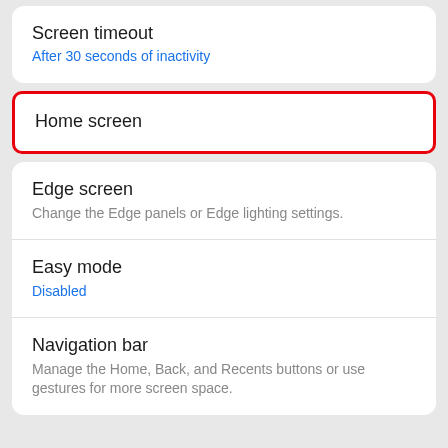Screen timeout
After 30 seconds of inactivity
Home screen
Edge screen
Change the Edge panels or Edge lighting settings.
Easy mode
Disabled
Navigation bar
Manage the Home, Back, and Recents buttons or use gestures for more screen space.